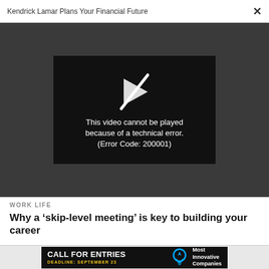Kendrick Lamar Plans Your Financial Future
[Figure (screenshot): Video player showing error: 'This video cannot be played because of a technical error. (Error Code: 200001)' on dark background with broken play button icon]
WORK LIFE
Why a ‘skip-level meeting’ is key to building your career
[Figure (infographic): Advertisement banner: CALL FOR ENTRIES DEADLINE: SEPTEMBER 23 with lightbulb icon and text Most Innovative Companies]